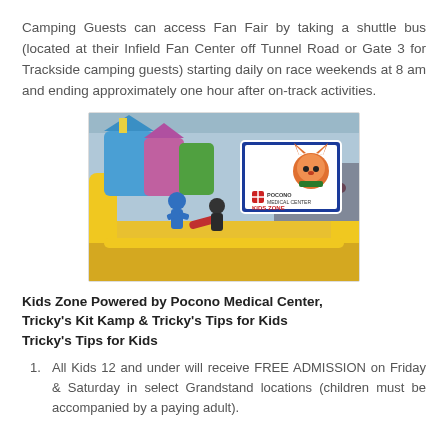Camping Guests can access Fan Fair by taking a shuttle bus (located at their Infield Fan Center off Tunnel Road or Gate 3 for Trackside camping guests) starting daily on race weekends at 8 am and ending approximately one hour after on-track activities.
[Figure (photo): Photo of children playing on an inflatable jousting arena at a fair/event, with a Pocono Medical Center Kids Zone sign and a fox mascot character visible in the background.]
Kids Zone Powered by Pocono Medical Center, Tricky's Kit Kamp & Tricky's Tips for Kids Tricky's Tips for Kids
All Kids 12 and under will receive FREE ADMISSION on Friday & Saturday in select Grandstand locations (children must be accompanied by a paying adult).